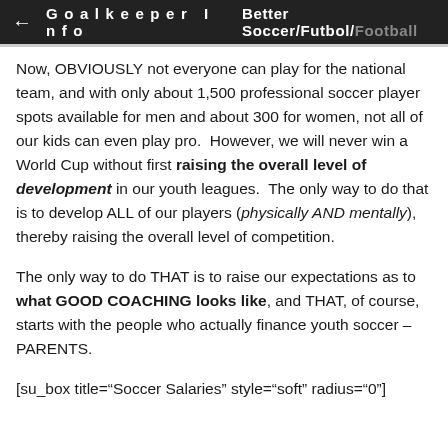← Goalkeeper Info   Better Soccer/Futbol/Football
Now, OBVIOUSLY not everyone can play for the national team, and with only about 1,500 professional soccer player spots available for men and about 300 for women, not all of our kids can even play pro.  However, we will never win a World Cup without first raising the overall level of development in our youth leagues.  The only way to do that is to develop ALL of our players (physically AND mentally), thereby raising the overall level of competition.
The only way to do THAT is to raise our expectations as to what GOOD COACHING looks like, and THAT, of course, starts with the people who actually finance youth soccer – PARENTS.
[su_box title="Soccer Salaries" style="soft" radius="0"]